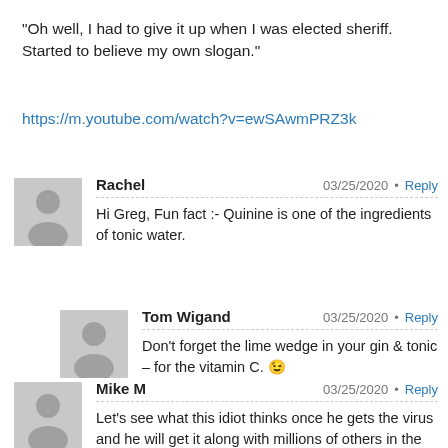“Oh well, I had to give it up when I was elected sheriff. Started to believe my own slogan.”
https://m.youtube.com/watch?v=ewSAwmPRZ3k
Rachel 03/25/2020 Reply
Hi Greg, Fun fact :- Quinine is one of the ingredients of tonic water.
Tom Wigand 03/25/2020 Reply
Don’t forget the lime wedge in your gin & tonic – for the vitamin C. 😉
Mike M 03/25/2020 Reply
Let’s see what this idiot thinks once he gets the virus and he will get it along with millions of others in the US. There may be some lulls but within several